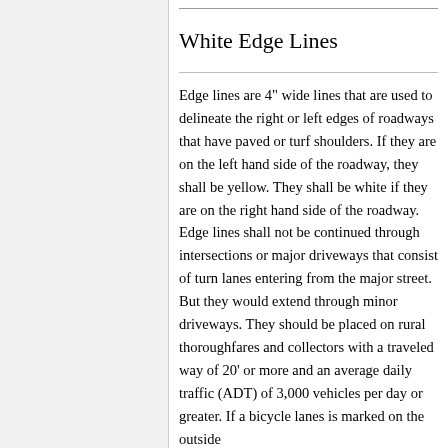White Edge Lines
Edge lines are 4" wide lines that are used to delineate the right or left edges of roadways that have paved or turf shoulders. If they are on the left hand side of the roadway, they shall be yellow. They shall be white if they are on the right hand side of the roadway. Edge lines shall not be continued through intersections or major driveways that consist of turn lanes entering from the major street. But they would extend through minor driveways. They should be placed on rural thoroughfares and collectors with a traveled way of 20' or more and an average daily traffic (ADT) of 3,000 vehicles per day or greater. If a bicycle lanes is marked on the outside